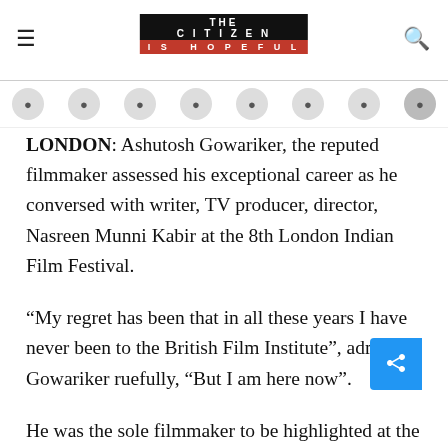THE CITIZEN IS HOPEFUL
LONDON: Ashutosh Gowariker, the reputed filmmaker assessed his exceptional career as he conversed with writer, TV producer, director, Nasreen Munni Kabir at the 8th London Indian Film Festival.
“My regret has been that in all these years I have never been to the British Film Institute”, admitted Gowariker ruefully, “But I am here now”.
He was the sole filmmaker to be highlighted at the London Indian Film Festival, which concluded its week